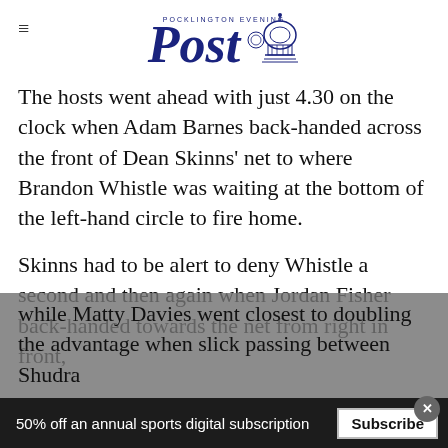Pocklington Evening Post
The hosts went ahead with just 4.30 on the clock when Adam Barnes back-handed across the front of Dean Skinns' net to where Brandon Whistle was waiting at the bottom of the left-hand circle to fire home.
Skinns had to be alert to deny Whistle a second and then again when Jordan Fisher back-handed towards the net from right in front, while Matty Davies went closest to doubling the advantage when slick passing between Shudra
50% off an annual sports digital subscription
Subscribe